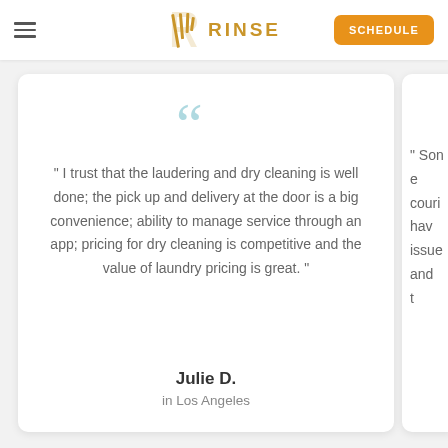RINSE | SCHEDULE
" I trust that the laudering and dry cleaning is well done; the pick up and delivery at the door is a big convenience; ability to manage service through an app; pricing for dry cleaning is competitive and the value of laundry pricing is great. "
Julie D.
in Los Angeles